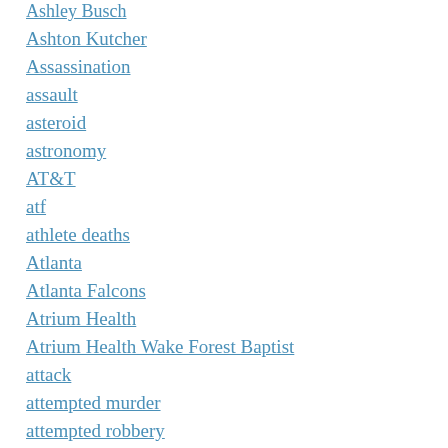Ashley Busch
Ashton Kutcher
Assassination
assault
asteroid
astronomy
AT&T
atf
athlete deaths
Atlanta
Atlanta Falcons
Atrium Health
Atrium Health Wake Forest Baptist
attack
attempted murder
attempted robbery